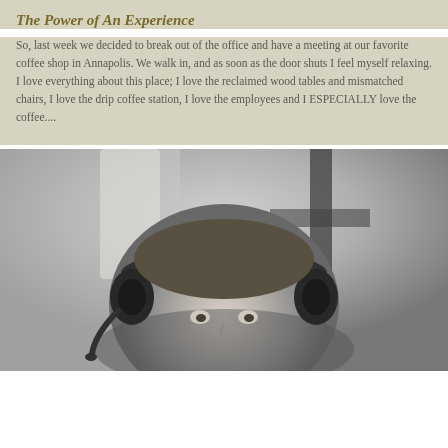The Power of An Experience
So, last week we decided to break out of the office and have a meeting at our favorite coffee shop in Annapolis. We walk in, and as soon as the door shuts I feel myself relaxing. I love everything about this place; I love the reclaimed wood tables and mismatched chairs, I love the drip coffee station, I love the employees and I ESPECIALLY love the coffee....
[Figure (photo): Black and white photograph of a young person wearing headphones, looking slightly upward, with a blurred background showing a cross-like structure]